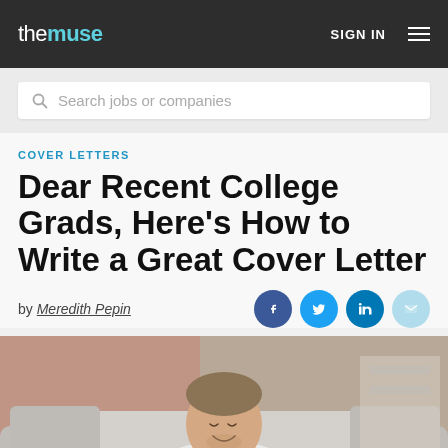the muse  SIGN IN ☰
Search jobs or companies
COVER LETTERS
Dear Recent College Grads, Here's How to Write a Great Cover Letter
by Meredith Pepin
[Figure (photo): Young man smiling and looking down at a laptop, sitting on a grey couch, brick wall in background]